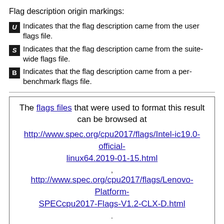Flag description origin markings:
U — Indicates that the flag description came from the user flags file.
S — Indicates that the flag description came from the suite-wide flags file.
B — Indicates that the flag description came from a per-benchmark flags file.
The flags files that were used to format this result can be browsed at http://www.spec.org/cpu2017/flags/Intel-ic19.0-official-linux64.2019-01-15.html, http://www.spec.org/cpu2017/flags/Lenovo-Platform-SPECcpu2017-Flags-V1.2-CLX-D.html. You can also download the XML flags sources by saving the following links: http://www.spec.org/cpu2017/flags/Intel-ic19.0-official-linux64.2019-01-15.xml, http://www.spec.org/cpu2017/flags/Lenovo-Platform-SPECcpu2017-Flags-V1.2-CLX-D.xml.
For questions about the meanings of these flags, please contact the tester.